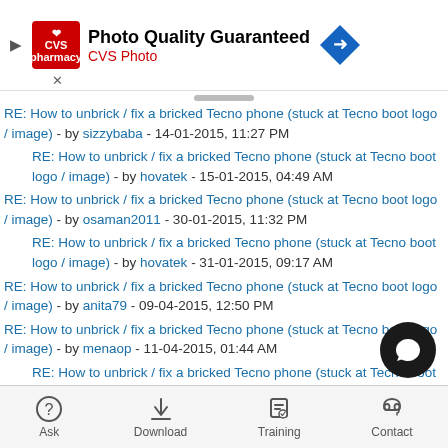[Figure (other): CVS Photo advertisement banner: Photo Quality Guaranteed, CVS Photo logo with red background, blue direction sign arrow icon]
RE: How to unbrick / fix a bricked Tecno phone (stuck at Tecno boot logo / image) - by sizzybaba - 14-01-2015, 11:27 PM
RE: How to unbrick / fix a bricked Tecno phone (stuck at Tecno boot logo / image) - by hovatek - 15-01-2015, 04:49 AM
RE: How to unbrick / fix a bricked Tecno phone (stuck at Tecno boot logo / image) - by osaman2011 - 30-01-2015, 11:32 PM
RE: How to unbrick / fix a bricked Tecno phone (stuck at Tecno boot logo / image) - by hovatek - 31-01-2015, 09:17 AM
RE: How to unbrick / fix a bricked Tecno phone (stuck at Tecno boot logo / image) - by anita79 - 09-04-2015, 12:50 PM
RE: How to unbrick / fix a bricked Tecno phone (stuck at Tecno boot logo / image) - by menaop - 11-04-2015, 01:44 AM
RE: How to unbrick / fix a bricked Tecno phone (stuck at Tecno boot logo / image) - by hovatek - 11-04-2015, 03:55 PM
RE: How to unbrick / fix a bricked Tecno phone (stuck at Tecno boot logo / image) - by ALBA - 15-04-2015, 02:57 PM
RE: How to unbrick / fix a bricked Tecno phone (stuck at Tecno boot logo / image) - by hovatek - 19-04-2015, 01:59 PM
Ask  Download  Training  Contact